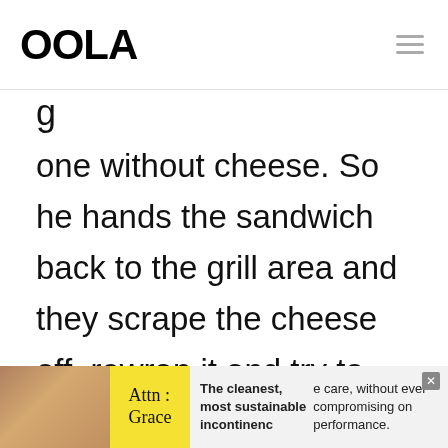OOLA
one without cheese. So he hands the sandwich back to the grill area and they scrape the cheese off, rewrap it and try to give it back to her.
She watches them do this so trying to be as polite as possible, she
[Figure (infographic): Advertisement banner for Attn: Grace incontinence care product. Shows partial image of a person, yellow brand name panel reading 'Attn: Grace', and text 'The cleanest, most sustainable incontinence care, without ever compromising on performance.' with a close button.]